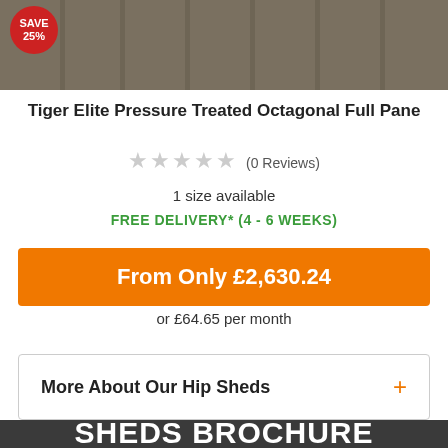[Figure (photo): Wooden deck/floor photo with a red circular 'SAVE 25%' badge in the top-left corner]
Tiger Elite Pressure Treated Octagonal Full Pane
★★★★★ (0 Reviews)
1 size available
FREE DELIVERY* (4 - 6 WEEKS)
From Only £2,630.24
or £64.65 per month
More About Our Hip Sheds +
REQUEST A FREE TIGER SHEDS BROCHURE